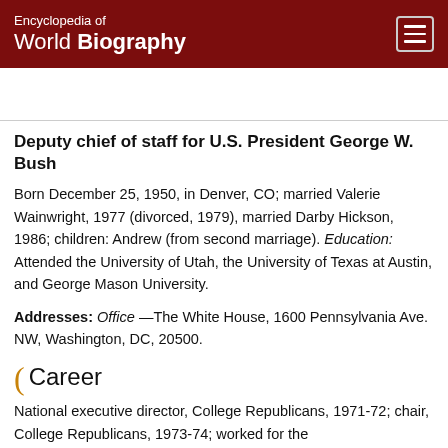Encyclopedia of World Biography
Deputy chief of staff for U.S. President George W. Bush
Born December 25, 1950, in Denver, CO; married Valerie Wainwright, 1977 (divorced, 1979), married Darby Hickson, 1986; children: Andrew (from second marriage). Education: Attended the University of Utah, the University of Texas at Austin, and George Mason University.
Addresses: Office —The White House, 1600 Pennsylvania Ave. NW, Washington, DC, 20500.
Career
National executive director, College Republicans, 1971-72; chair, College Republicans, 1973-74; worked for the